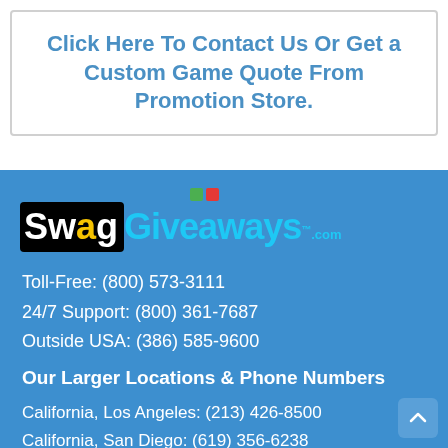Click Here To Contact Us Or Get a Custom Game Quote From Promotion Store.
[Figure (logo): SwagGiveaways.com logo with black background for Swag and blue text for Giveaways, with colored square dots above]
Toll-Free: (800) 573-3111
24/7 Support: (800) 361-7687
Outside USA: (386) 585-9600
Our Larger Locations & Phone Numbers
California, Los Angeles: (213) 426-8500
California, San Diego: (619) 356-6238
Florida, Jacksonville: (386) 585-9600
Florida, Orlando: (407) 418-8200